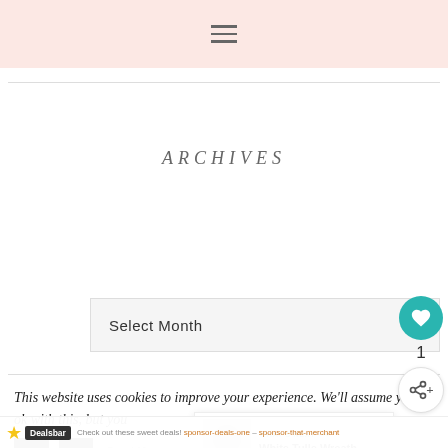≡ (hamburger menu icon)
ARCHIVES
Select Month
[Figure (photo): Partial view of a black and white circular image (semicircle visible), showing what appears to be a decorative plate or ornamental item with crystal/glass accents]
This website uses cookies to improve your experience. We'll assume you're ok with this, but you
[Figure (screenshot): What's Next widget showing a thumbnail image and text 'White Tulle Wreath']
Dealsbar — Check out these sweet deals! — sponsor-deals-one – sponsor-that-merchant